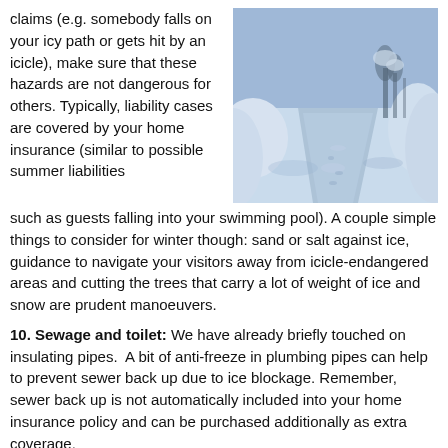claims (e.g. somebody falls on your icy path or gets hit by an icicle), make sure that these hazards are not dangerous for others. Typically, liability cases are covered by your home insurance (similar to possible summer liabilities such as guests falling into your swimming pool). A couple simple things to consider for winter though: sand or salt against ice, guidance to navigate your visitors away from icicle-endangered areas and cutting the trees that carry a lot of weight of ice and snow are prudent manoeuvers.
[Figure (photo): A snowy winter scene showing a path or driveway covered in deep snow with snow piled high on both sides, bluish-tinted photograph.]
10. Sewage and toilet: We have already briefly touched on insulating pipes. A bit of anti-freeze in plumbing pipes can help to prevent sewer back up due to ice blockage. Remember, sewer back up is not automatically included into your home insurance policy and can be purchased additionally as extra coverage.
11. Skis and snowboards: Your ski equipment is covered by